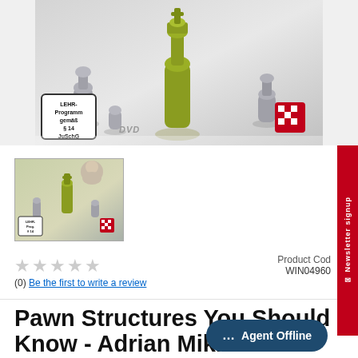[Figure (photo): Chess DVD product image showing green king piece surrounded by gray pieces, with LEHR-Programm gemäß § 14 JuSchG badge, DVD logo and Danlas logo]
[Figure (photo): Thumbnail of the chess DVD product cover showing green king and gray chess pieces]
★★★★★
(0) Be the first to write a review
Product Code: WIN04960
Newsletter signup
Pawn Structures You Should Know - Adrian Mikha...
Agent Offline